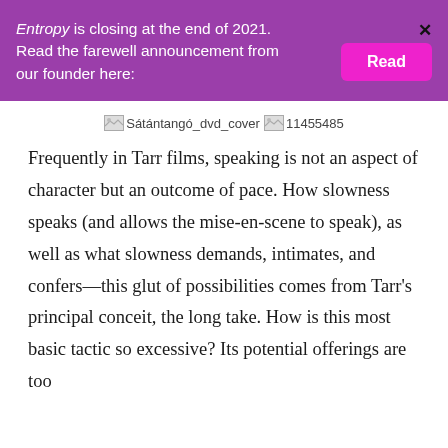Entropy is closing at the end of 2021. Read the farewell announcement from our founder here:
[Figure (other): Two broken image placeholders: one labeled 'Sátántangó_dvd_cover' and one labeled '11455485']
Frequently in Tarr films, speaking is not an aspect of character but an outcome of pace. How slowness speaks (and allows the mise-en-scene to speak), as well as what slowness demands, intimates, and confers—this glut of possibilities comes from Tarr's principal conceit, the long take. How is this most basic tactic so excessive? Its potential offerings are too